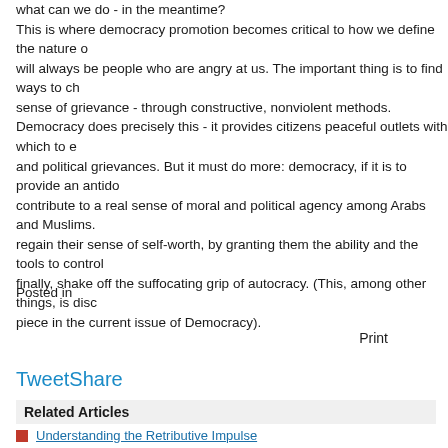what can we do - in the meantime?
This is where democracy promotion becomes critical to how we define the nature of will always be people who are angry at us. The important thing is to find ways to ch sense of grievance - through constructive, nonviolent methods.
Democracy does precisely this - it provides citizens peaceful outlets with which to e and political grievances. But it must do more: democracy, if it is to provide an antid contribute to a real sense of moral and political agency among Arabs and Muslims. regain their sense of self-worth, by granting them the ability and the tools to control finally, shake off the suffocating grip of autocracy. (This, among other things, is dis piece in the current issue of Democracy).
Posted in
Print
TweetShare
Related Articles
Understanding the Retributive Impulse